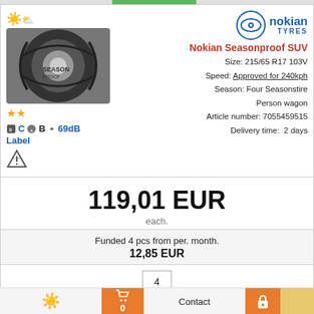[Figure (photo): Nokian Seasonproof SUV tire product image with weather icon and star ratings]
C  B  69dB
Label
[Figure (logo): Nokian Tyres logo with circular emblem]
Nokian Seasonproof SUV
Size: 215/65 R17 103V
Speed: Approved for 240kph
Season: Four Seasonstire
Person wagon
Article number: 7055459515
Delivery time: 2 days
119,01 EUR
each.
Funded 4 pcs from per. month.
12,85 EUR
4
In stock
Buy
0
Contact